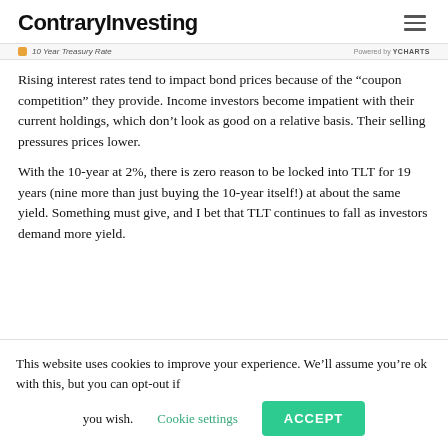ContraryInvesting
10 Year Treasury Rate
Rising interest rates tend to impact bond prices because of the “coupon competition” they provide. Income investors become impatient with their current holdings, which don’t look as good on a relative basis. Their selling pressures prices lower.
With the 10-year at 2%, there is zero reason to be locked into TLT for 19 years (nine more than just buying the 10-year itself!) at about the same yield. Something must give, and I bet that TLT continues to fall as investors demand more yield.
This website uses cookies to improve your experience. We’ll assume you’re ok with this, but you can opt-out if you wish. Cookie settings ACCEPT